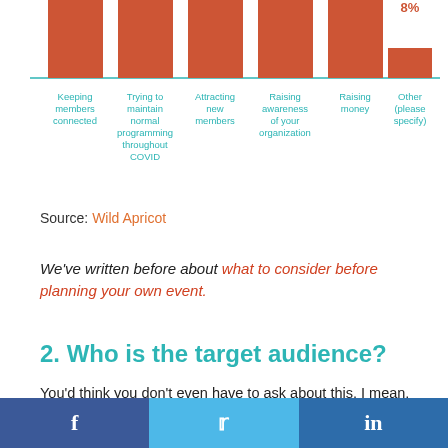[Figure (bar-chart): Partial bar chart showing top challenges. Only the 'Other' bar with 8% label is fully visible at top right.]
Source: Wild Apricot
We've written before about what to consider before planning your own event.
2. Who is the target audience?
You'd think you don't even have to ask about this. I mean, who doesn't know their target audience now and why would you need to give it any extra thought when planning events. You'd be surprised at the amount of times I've discussed
f   t   in